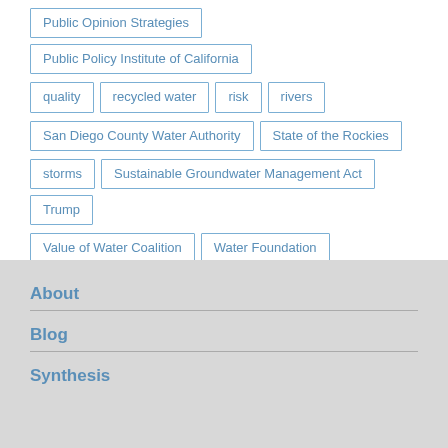Public Opinion Strategies
Public Policy Institute of California
quality
recycled water
risk
rivers
San Diego County Water Authority
State of the Rockies
storms
Sustainable Groundwater Management Act
Trump
Value of Water Coalition
Water Foundation
World Economic Forum
About
Blog
Synthesis